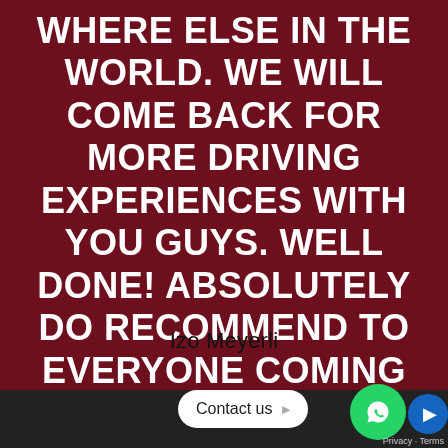WHERE ELSE IN THE WORLD. WE WILL COME BACK FOR MORE DRIVING EXPERIENCES WITH YOU GUYS. WELL DONE! ABSOLUTELY DO RECOMMEND TO EVERYONE COMING TO CAPE TOWN!"
Izo Meyerli
Contact us
Privacy · Terms